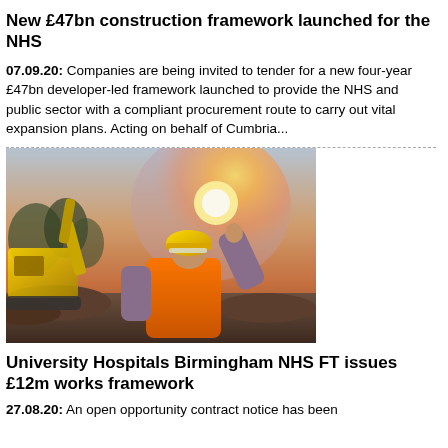New £47bn construction framework launched for the NHS
07.09.20: Companies are being invited to tender for a new four-year £47bn developer-led framework launched to provide the NHS and public sector with a compliant procurement route to carry out vital expansion plans. Acting on behalf of Cumbria...
[Figure (photo): Construction worker wearing an orange hi-vis vest and yellow hard hat, viewed from behind, standing near a yellow excavator on a construction site with a bright sunset in the background.]
University Hospitals Birmingham NHS FT issues £12m works framework
27.08.20: An open opportunity contract notice has been